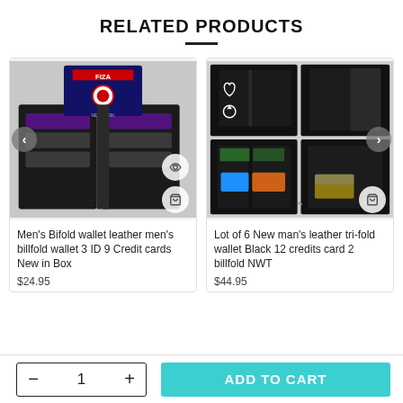RELATED PRODUCTS
[Figure (photo): Men's bifold leather wallet opened showing card slots, with FIZA brand logo card on top]
Men’s Bifold wallet leather men’s billfold wallet 3 ID 9 Credit cards New in Box
$24.95
[Figure (photo): Lot of 6 new man's black leather tri-fold wallets shown open from multiple angles with credit cards and cash]
Lot of 6 New man’s leather tri-fold wallet Black 12 credits card 2 billfold NWT
$44.95